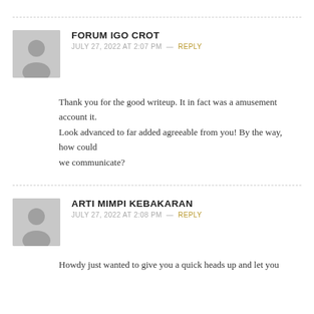FORUM IGO CROT
JULY 27, 2022 AT 2:07 PM — REPLY
Thank you for the good writeup. It in fact was a amusement account it. Look advanced to far added agreeable from you! By the way, how could we communicate?
ARTI MIMPI KEBAKARAN
JULY 27, 2022 AT 2:08 PM — REPLY
Howdy just wanted to give you a quick heads up and let you